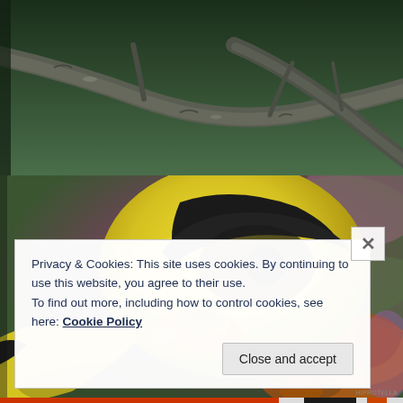[Figure (photo): Close-up photo of two bare tree branches crossing against a dark green blurred background]
[Figure (photo): Close-up macro photo of a yellow and black Eurasian golden oriole bird head, with orange beak, feeding on an orange coneflower against a blurred pink and green background]
Privacy & Cookies: This site uses cookies. By continuing to use this website, you agree to their use.
To find out more, including how to control cookies, see here: Cookie Policy
Close and accept